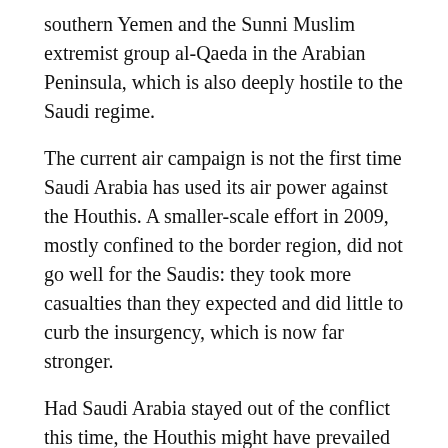southern Yemen and the Sunni Muslim extremist group al-Qaeda in the Arabian Peninsula, which is also deeply hostile to the Saudi regime.
The current air campaign is not the first time Saudi Arabia has used its air power against the Houthis. A smaller-scale effort in 2009, mostly confined to the border region, did not go well for the Saudis: they took more casualties than they expected and did little to curb the insurgency, which is now far stronger.
Had Saudi Arabia stayed out of the conflict this time, the Houthis might have prevailed over their many rivals to become rulers of Yemen, only to find themselves responsible for governing a country that is destitute and still facing dug-in rivals from assorted Sunni Muslim groups and factions. Yemen